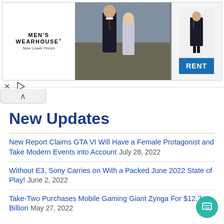[Figure (screenshot): Men's Wearhouse advertisement banner showing a couple in formal wear and a man in a suit with a RENT button]
New Updates
New Report Claims GTA VI Will Have a Female Protagonist and Take Modern Events into Account July 28, 2022
Without E3, Sony Carries on With a Packed June 2022 State of Play! June 2, 2022
Take-Two Purchases Mobile Gaming Giant Zynga For $12.7 Billion May 27, 2022